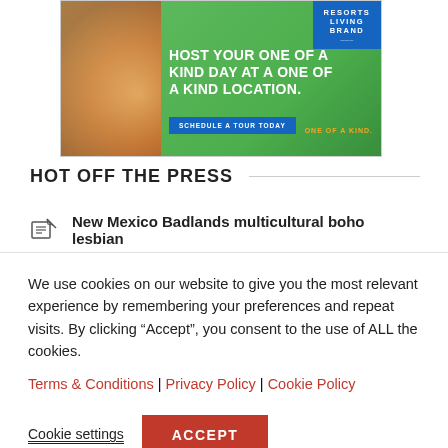[Figure (photo): Advertisement banner for a resort venue. Green background with couple photo on left. Text reads: HOST YOUR ONE OF A KIND DAY AT A ONE OF A KIND LOCATION. Blue button: SCHEDULE A TOUR TODAY. Orange tagline: ONE OF A KIND. Blue logo box in top right corner with RESORTS LIVING BRAND.]
HOT OFF THE PRESS
New Mexico Badlands multicultural boho lesbian
We use cookies on our website to give you the most relevant experience by remembering your preferences and repeat visits. By clicking “Accept”, you consent to the use of ALL the cookies.
Terms & Conditions | Privacy Policy | Cookie Policy
Cookie settings   ACCEPT